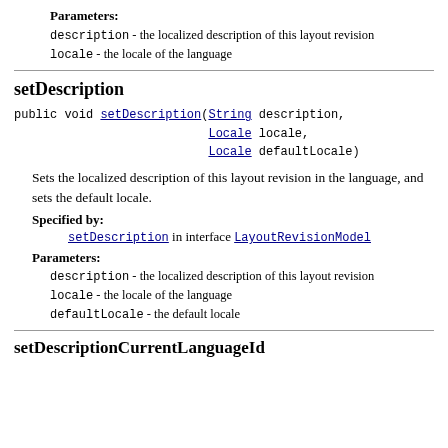Parameters:
description - the localized description of this layout revision
locale - the locale of the language
setDescription
public void setDescription(String description,
                           Locale locale,
                           Locale defaultLocale)
Sets the localized description of this layout revision in the language, and sets the default locale.
Specified by:
setDescription in interface LayoutRevisionModel
Parameters:
description - the localized description of this layout revision
locale - the locale of the language
defaultLocale - the default locale
setDescriptionCurrentLanguageId